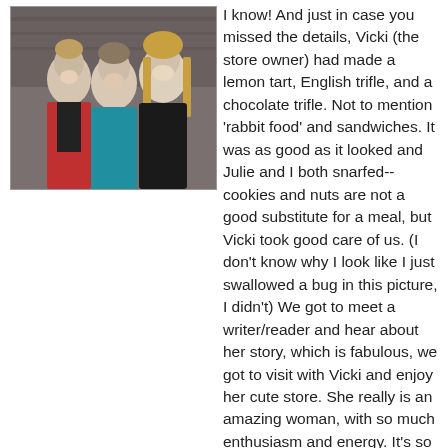[Figure (photo): Three women posing together indoors in what appears to be a store. One woman wears a red cardigan, one a teal/blue top, and one a black top. Store merchandise visible in the background.]
I know! And just in case you missed the details, Vicki (the store owner) had made a lemon tart, English trifle, and a chocolate trifle. Not to mention 'rabbit food' and sandwiches. It was as good as it looked and Julie and I both snarfed--cookies and nuts are not a good substitute for a meal, but Vicki took good care of us. (I don't know why I look like I just swallowed a bug in this picture, I didn't) We got to meet a writer/reader and hear about her story, which is fabulous, we got to visit with Vicki and enjoy her cute store. She really is an amazing woman, with so much enthusiasm and energy. It's so satisfying how no matter where we go, we find ourselves among freinds. Both Seagull and Beehive Books were so gracious today, despite our tardiness.
After the Bakersfield signing, we headed for LA where we are staying tonight with fellow author Victoria Gunther. She